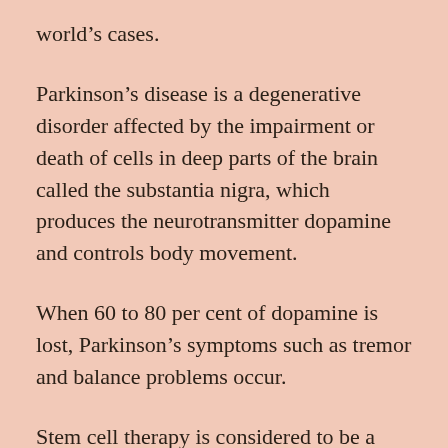world's cases.
Parkinson's disease is a degenerative disorder affected by the impairment or death of cells in deep parts of the brain called the substantia nigra, which produces the neurotransmitter dopamine and controls body movement.
When 60 to 80 per cent of dopamine is lost, Parkinson's symptoms such as tremor and balance problems occur.
Stem cell therapy is considered to be a promising treatment strategy because the disease is caused by the loss of one type of cell from a certain spot in the brain.